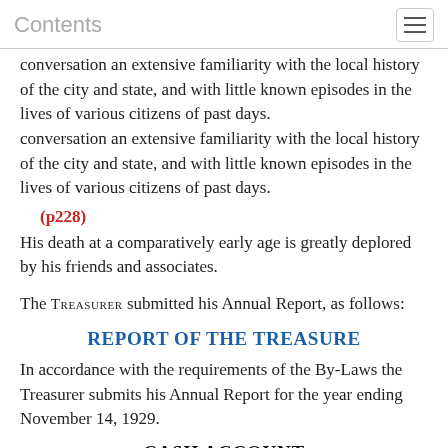Contents
conversation an extensive familiarity with the local history of the city and state, and with little known episodes in the lives of various citizens of past days.
(p228)
His death at a comparatively early age is greatly deplored by his friends and associates.
The Treasurer submitted his Annual Report, as follows:
REPORT OF THE TREASURE
In accordance with the requirements of the By-Laws the Treasurer submits his Annual Report for the year ending November 14, 1929.
CASH ACCOUNT
RECEIPTS